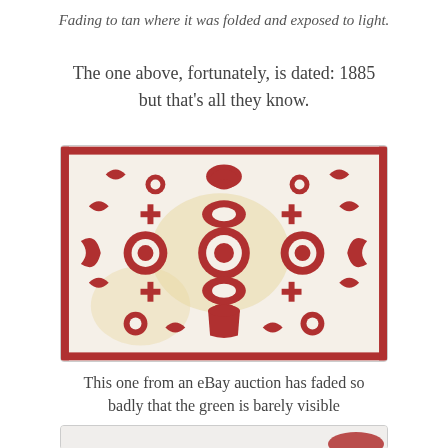Fading to tan where it was folded and exposed to light.
The one above, fortunately, is dated: 1885 but that's all they know.
[Figure (photo): A vintage red and white quilt with folk art appliqué patterns including flowers, birds, urns, and crescent shapes. The white background shows yellowed areas from folding and light exposure. Red and white symmetrical design.]
This one from an eBay auction has faded so badly that the green is barely visible
[Figure (photo): Partial view of another quilt showing white quilted fabric with a red appliqué element visible at the bottom right corner.]